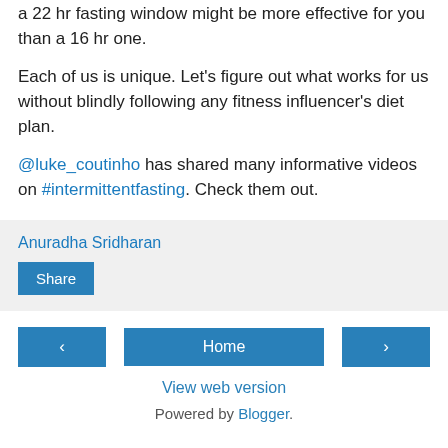a 22 hr fasting window might be more effective for you than a 16 hr one.
Each of us is unique. Let's figure out what works for us without blindly following any fitness influencer's diet plan.
@luke_coutinho has shared many informative videos on #intermittentfasting. Check them out.
Anuradha Sridharan
Share
Home
View web version
Powered by Blogger.